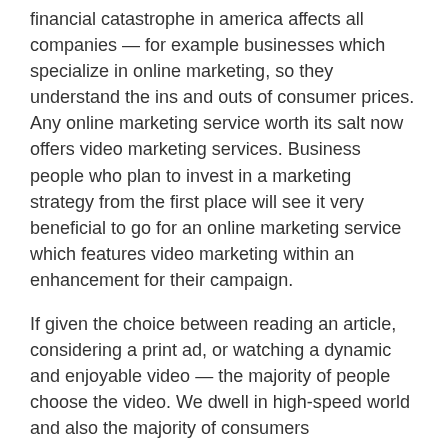financial catastrophe in america affects all companies — for example businesses which specialize in online marketing, so they understand the ins and outs of consumer prices. Any online marketing service worth its salt now offers video marketing services. Business people who plan to invest in a marketing strategy from the first place will see it very beneficial to go for an online marketing service which features video marketing within an enhancement for their campaign.
If given the choice between reading an article, considering a print ad, or watching a dynamic and enjoyable video — the majority of people choose the video. We dwell in high-speed world and also the majority of consumers have"microwave" expectations when it comes to researching products and services. They want their answers fast, sexy, and now. A premium quality video advertising service can provide messenger outcomes to the most demanding of consumers.
It's important to not forget that not all Internet advertising services are created both. The truth of the situation is, even while prices should be cheap, they shouldn't be bottom of this barrel. Typically, dirt cheap services and products lead in dirt poor results. Very good business people concentrate in smart decisions and comprehend that cutting corners for advertisements usually doesn't pan out.
There is little doubt about it, video marketing may significantly improve a customer base by forcing traffic into a specific site and capturing the interest of consumers all over the map. Any man who attempts to